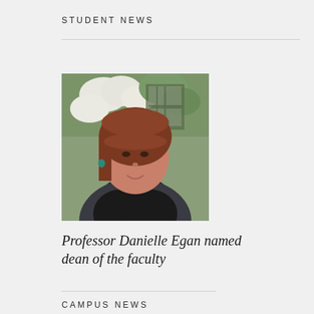STUDENT NEWS
[Figure (photo): Portrait photo of Professor Danielle Egan, a woman with reddish-brown hair and bangs, smiling, wearing a black top, with flowering trees and a window visible in the background.]
Professor Danielle Egan named dean of the faculty
CAMPUS NEWS